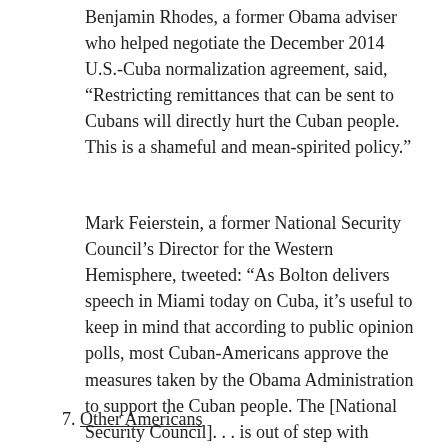Benjamin Rhodes, a former Obama adviser who helped negotiate the December 2014 U.S.-Cuba normalization agreement, said, “Restricting remittances that can be sent to Cubans will directly hurt the Cuban people. This is a shameful and mean-spirited policy.”
Mark Feierstein, a former National Security Council’s Director for the Western Hemisphere, tweeted: “As Bolton delivers speech in Miami today on Cuba, it’s useful to keep in mind that according to public opinion polls, most Cuban-Americans approve the measures taken by the Obama Administration to support the Cuban people. The [National Security Council]. . . is out of step with majority opinion in Miami.” In another tweet he stated, “What we’re leading the Cuban people toward is a darker day, where there will be less economic opportunity.”
7. Other Americans